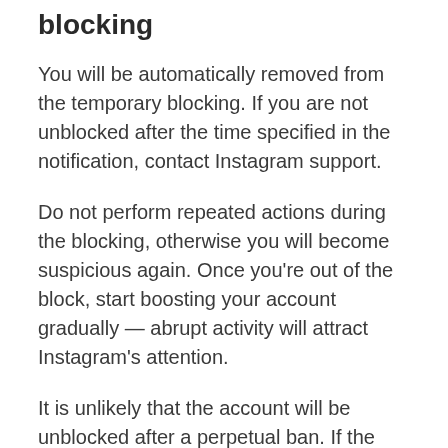blocking
You will be automatically removed from the temporary blocking. If you are not unblocked after the time specified in the notification, contact Instagram support.
Do not perform repeated actions during the blocking, otherwise you will become suspicious again. Once you're out of the block, start boosting your account gradually — abrupt activity will attract Instagram's attention.
It is unlikely that the account will be unblocked after a perpetual ban. If the page has been deleted, contact Instagram support. Write that the account is blocked and ask for an explanation of the reason for the ban.
Examine it and provide evidence of the